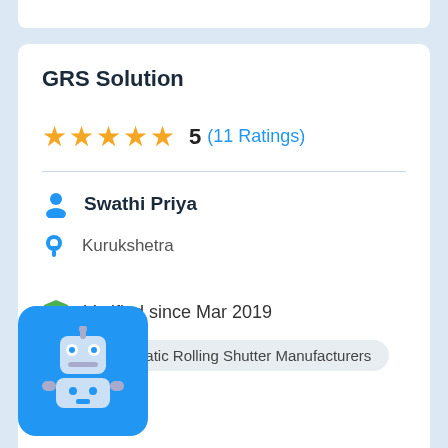GRS Solution
5 (11 Ratings)
Swathi Priya
Kurukshetra
Verified since Mar 2019
Automatic Rolling Shutter Manufacturers
[Figure (logo): Blue robot logo icon]